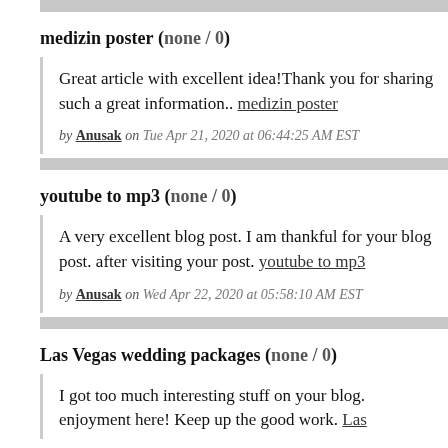medizin poster (none / 0)
Great article with excellent idea!Thank you for sharing such a great information.. medizin poster
by Anusak on Tue Apr 21, 2020 at 06:44:25 AM EST
youtube to mp3 (none / 0)
A very excellent blog post. I am thankful for your blog post. I found it very helpful after visiting your post. youtube to mp3
by Anusak on Wed Apr 22, 2020 at 05:58:10 AM EST
Las Vegas wedding packages (none / 0)
I got too much interesting stuff on your blog. I guess I am not the only one having all the enjoyment here! Keep up the good work. Las